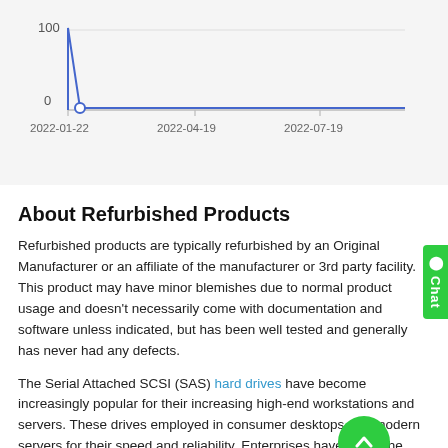[Figure (line-chart): ]
About Refurbished Products
Refurbished products are typically refurbished by an Original Manufacturer or an affiliate of the manufacturer or 3rd party facility. This product may have minor blemishes due to normal product usage and doesn't necessarily come with documentation and software unless indicated, but has been well tested and generally has never had any defects.
The Serial Attached SCSI (SAS) hard drives have become increasingly popular for their increasing high-end workstations and servers. These drives employed in consumer desktops and modern servers for their speed and reliability. Enterprises have made the SAS hard drives their de-facto standard. Now, the